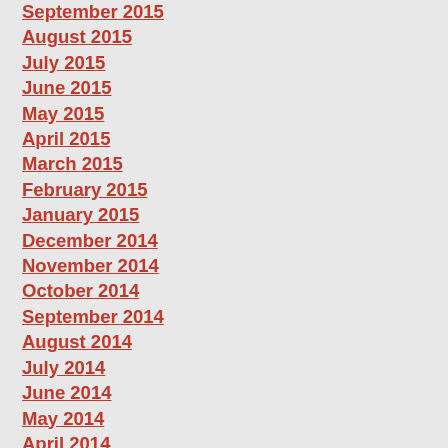September 2015
August 2015
July 2015
June 2015
May 2015
April 2015
March 2015
February 2015
January 2015
December 2014
November 2014
October 2014
September 2014
August 2014
July 2014
June 2014
May 2014
April 2014
March 2014
February 2014
January 2014